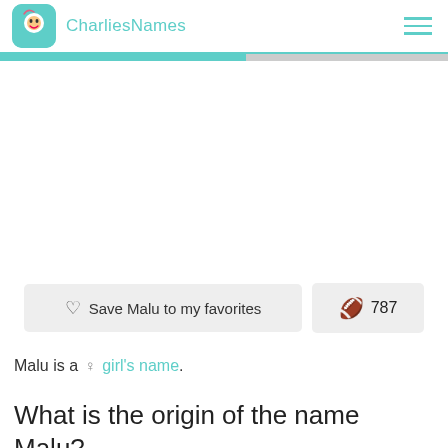CharliesNames
Save Malu to my favorites  787
Malu is a ♀ girl's name.
What is the origin of the name Malu?